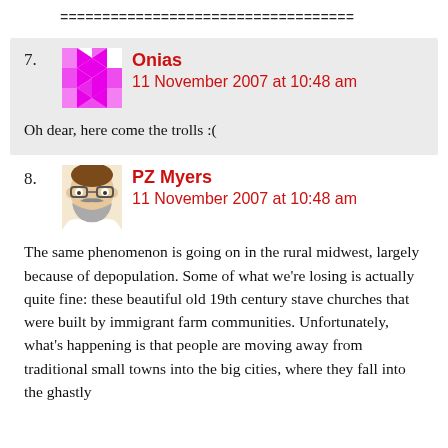===================================
7. Onias — 11 November 2007 at 10:48 am
Oh dear, here come the trolls :(
8. PZ Myers — 11 November 2007 at 10:48 am
The same phenomenon is going on in the rural midwest, largely because of depopulation. Some of what we're losing is actually quite fine: these beautiful old 19th century stave churches that were built by immigrant farm communities. Unfortunately, what's happening is that people are moving away from traditional small towns into the big cities, where they fall into the ghastly